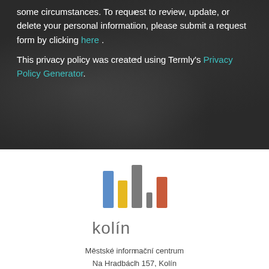some circumstances. To request to review, update, or delete your personal information, please submit a request form by clicking here . This privacy policy was created using Termly's Privacy Policy Generator.
[Figure (logo): Kolín city logo with colored vertical bar chart graphic above the text 'kolín']
Městské informační centrum
Na Hradbách 157, Kolín